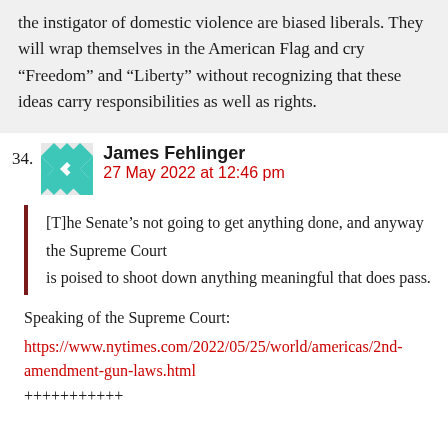the instigator of domestic violence are biased liberals. They will wrap themselves in the American Flag and cry “Freedom” and “Liberty” without recognizing that these ideas carry responsibilities as well as rights.
34. James Fehlinger
27 May 2022 at 12:46 pm
[T]he Senate’s not going to get anything done, and anyway the Supreme Court is poised to shoot down anything meaningful that does pass.
Speaking of the Supreme Court:
https://www.nytimes.com/2022/05/25/world/americas/2nd-amendment-gun-laws.html
+++++++++++